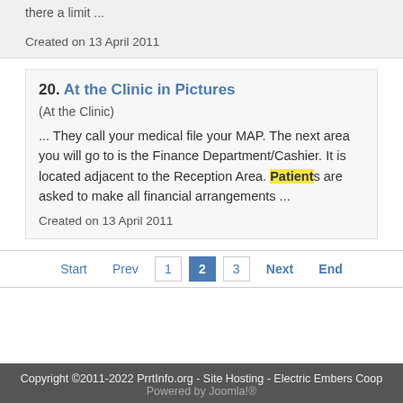there a limit ...
Created on 13 April 2011
20. At the Clinic in Pictures
(At the Clinic)
... They call your medical file your MAP. The next area you will go to is the Finance Department/Cashier. It is located adjacent to the Reception Area. Patients are asked to make all financial arrangements ...
Created on 13 April 2011
Start Prev 1 2 3 Next End
Copyright ©2011-2022 PrrtInfo.org - Site Hosting - Electric Embers Coop